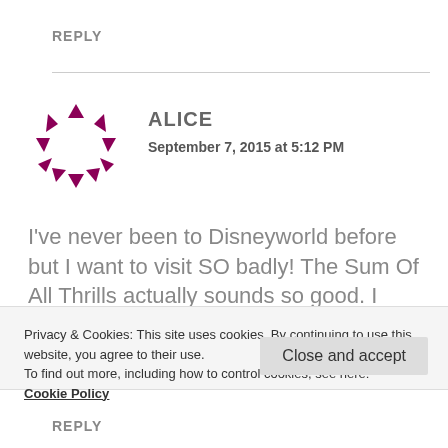REPLY
[Figure (illustration): Purple/magenta triangles arranged in a circle forming an avatar icon]
ALICE
September 7, 2015 at 5:12 PM
I've never been to Disneyworld before but I want to visit SO badly! The Sum Of All Thrills actually sounds so good. I would love to go on the Test Track as well.
Privacy & Cookies: This site uses cookies. By continuing to use this website, you agree to their use.
To find out more, including how to control cookies, see here:
Cookie Policy
Close and accept
REPLY